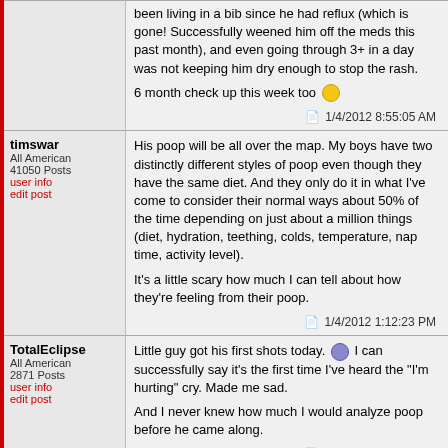been living in a bib since he had reflux (which is gone! Successfully weened him off the meds this past month), and even going through 3+ in a day was not keeping him dry enough to stop the rash.

6 month check up this week too 🙂
1/4/2012 8:55:05 AM
timswar
All American
41050 Posts
user info
edit post
His poop will be all over the map. My boys have two distinctly different styles of poop even though they have the same diet. And they only do it in what I've come to consider their normal ways about 50% of the time depending on just about a million things (diet, hydration, teething, colds, temperature, nap time, activity level).

It's a little scary how much I can tell about how they're feeling from their poop.
1/4/2012 1:12:23 PM
TotalEclipse
All American
2871 Posts
user info
edit post
Little guy got his first shots today. 😞 I can successfully say it's the first time I've heard the "I'm hurting" cry. Made me sad.

And I never knew how much I would analyze poop before he came along.
1/4/2012 7:57:43 PM